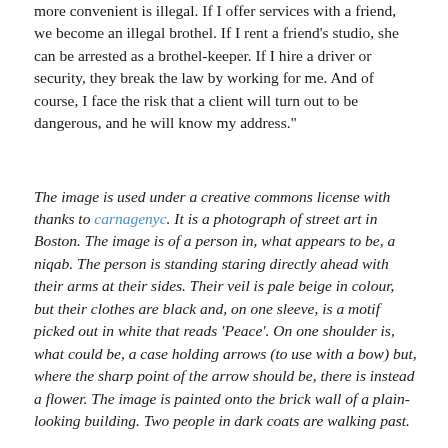more convenient is illegal. If I offer services with a friend, we become an illegal brothel. If I rent a friend's studio, she can be arrested as a brothel-keeper. If I hire a driver or security, they break the law by working for me. And of course, I face the risk that a client will turn out to be dangerous, and he will know my address."
The image is used under a creative commons license with thanks to carnagenyc. It is a photograph of street art in Boston. The image is of a person in, what appears to be, a niqab. The person is standing staring directly ahead with their arms at their sides. Their veil is pale beige in colour, but their clothes are black and, on one sleeve, is a motif picked out in white that reads 'Peace'. On one shoulder is, what could be, a case holding arrows (to use with a bow) but, where the sharp point of the arrow should be, there is instead a flower. The image is painted onto the brick wall of a plain-looking building. Two people in dark coats are walking past.